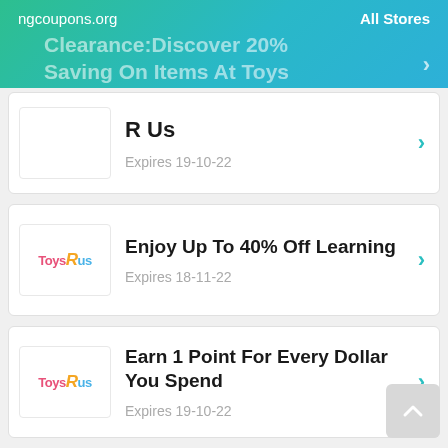ngcoupons.org   All Stores
Clearance:Discover 20% Saving On Items At Toys R Us
Expires 19-10-22
Enjoy Up To 40% Off Learning
Expires 18-11-22
Earn 1 Point For Every Dollar You Spend
Expires 19-10-22